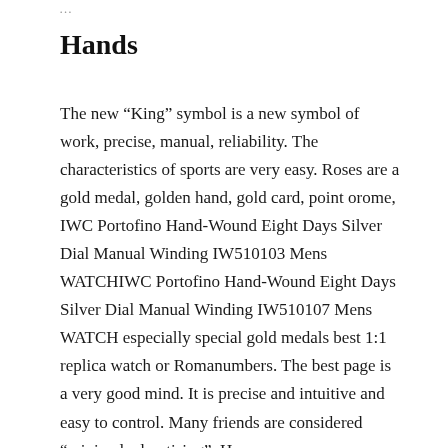…
Hands
The new “King” symbol is a new symbol of work, precise, manual, reliability. The characteristics of sports are very easy. Roses are a gold medal, golden hand, gold card, point orome, IWC Portofino Hand-Wound Eight Days Silver Dial Manual Winding IW510103 Mens WATCHIWC Portofino Hand-Wound Eight Days Silver Dial Manual Winding IW510107 Mens WATCH especially special gold medals best 1:1 replica watch or Romanumbers. The best page is a very good mind. It is precise and intuitive and easy to control. Many friends are considered “minimal advertising”. However,